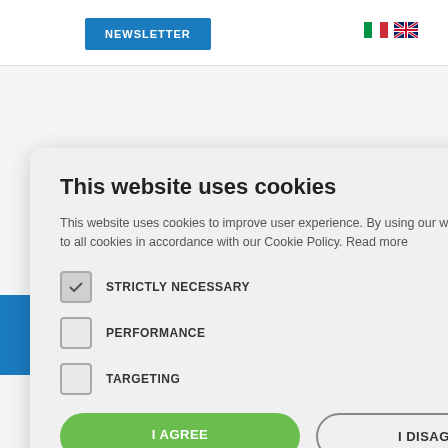[Figure (screenshot): Website background with newsletter button, Italian and English flag icons, search icon, hamburger menu, partial website text, and green contact bar]
This website uses cookies
This website uses cookies to improve user experience. By using our website you consent to all cookies in accordance with our Cookie Policy. Read more
STRICTLY NECESSARY
PERFORMANCE
TARGETING
I AGREE
I DISAGREE
SHOW DETAILS